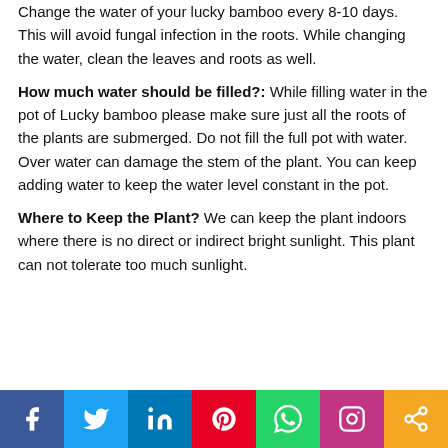Change the water of your lucky bamboo every 8-10 days. This will avoid fungal infection in the roots. While changing the water, clean the leaves and roots as well.
How much water should be filled?: While filling water in the pot of Lucky bamboo please make sure just all the roots of the plants are submerged. Do not fill the full pot with water. Over water can damage the stem of the plant. You can keep adding water to keep the water level constant in the pot.
Where to Keep the Plant? We can keep the plant indoors where there is no direct or indirect bright sunlight. This plant can not tolerate too much sunlight.
[Figure (infographic): Social media share bar with icons for Facebook, Twitter, LinkedIn, Pinterest, WhatsApp, Instagram, and a share button]